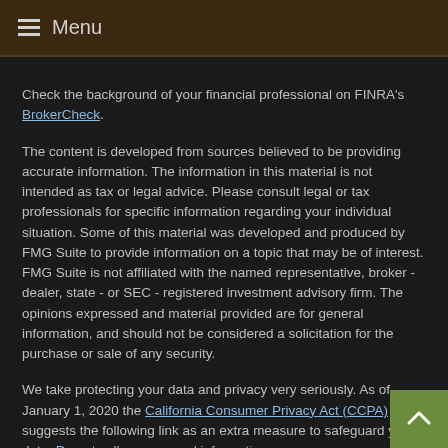Menu
Check the background of your financial professional on FINRA's BrokerCheck.
The content is developed from sources believed to be providing accurate information. The information in this material is not intended as tax or legal advice. Please consult legal or tax professionals for specific information regarding your individual situation. Some of this material was developed and produced by FMG Suite to provide information on a topic that may be of interest. FMG Suite is not affiliated with the named representative, broker - dealer, state - or SEC - registered investment advisory firm. The opinions expressed and material provided are for general information, and should not be considered a solicitation for the purchase or sale of any security.
We take protecting your data and privacy very seriously. As of January 1, 2020 the California Consumer Privacy Act (CCPA) suggests the following link as an extra measure to safeguard your data: Do not sell my personal information.